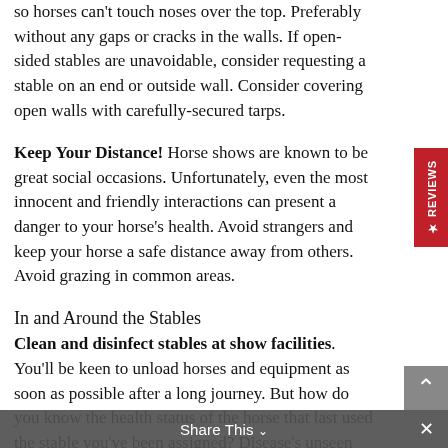so horses can't touch noses over the top.  Preferably without any gaps or cracks in the walls. If open-sided stables are unavoidable, consider requesting a stable on an end or outside wall.  Consider covering open walls with carefully-secured tarps.
Keep Your Distance! Horse shows are known to be great social occasions. Unfortunately, even the most innocent and friendly interactions can present a danger to your horse's health.  Avoid strangers and keep your horse a safe distance away from others. Avoid grazing in common areas.
In and Around the Stables
Clean and disinfect stables at show facilities. You'll be keen to unload horses and equipment as soon as possible after a long journey. But how do you know the health status of the horse that last used the stable you've been assigned? Disease's unseen pathogens aren't only waiting to find a new host in
Share This ∨